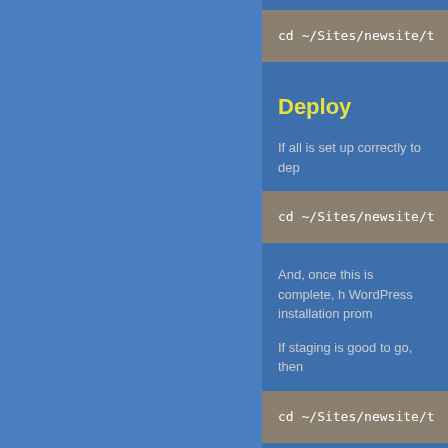cd ~/Sites/newsite/t
Deploy
If all is set up correctly to dep
cd ~/Sites/newsite/t
And, once this is complete, h WordPress installation prom
If staging is good to go, then
cd ~/Sites/newsite/t
And, like staging, this should https://newsite.com.